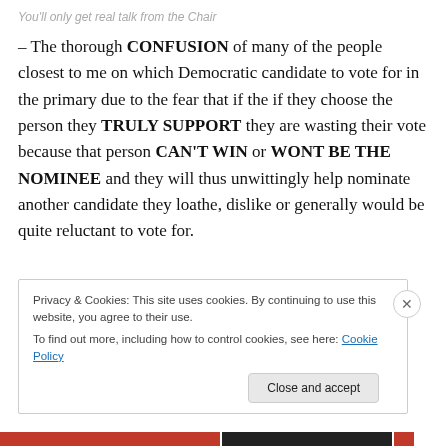You'll only get real talk from the Chair
– The thorough CONFUSION of many of the people closest to me on which Democratic candidate to vote for in the primary due to the fear that if the if they choose the person they TRULY SUPPORT they are wasting their vote because that person CAN'T WIN or WONT BE THE NOMINEE and they will thus unwittingly help nominate another candidate they loathe, dislike or generally would be quite reluctant to vote for.
Privacy & Cookies: This site uses cookies. By continuing to use this website, you agree to their use.
To find out more, including how to control cookies, see here: Cookie Policy